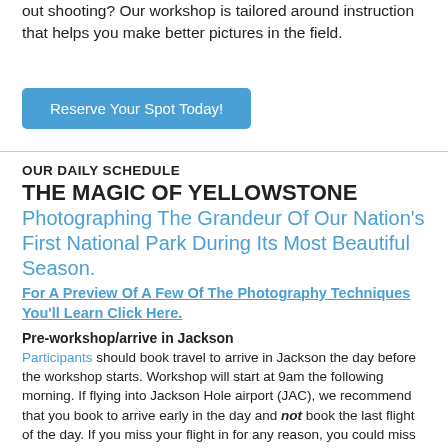out shooting? Our workshop is tailored around instruction that helps you make better pictures in the field.
Reserve Your Spot Today!
OUR DAILY SCHEDULE
THE MAGIC OF YELLOWSTONE
Photographing The Grandeur Of Our Nation's First National Park During Its Most Beautiful Season.
For A Preview Of A Few Of The Photography Techniques You'll Learn Click Here.
Pre-workshop/arrive in Jackson
Participants should book travel to arrive in Jackson the day before the workshop starts. Workshop will start at 9am the following morning. If flying into Jackson Hole airport (JAC), we recommend that you book to arrive early in the day and not book the last flight of the day. If you miss your flight in for any reason, you could miss us on Thursday. Participants are responsible for booking their own lodging in Jackson